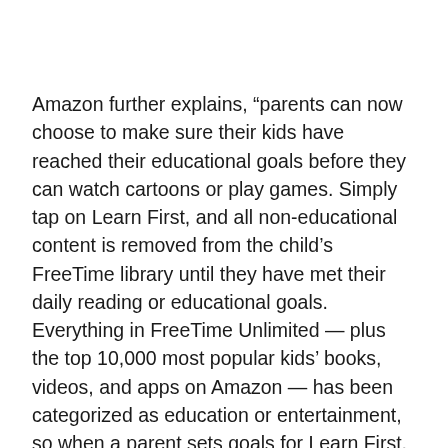Amazon further explains, “parents can now choose to make sure their kids have reached their educational goals before they can watch cartoons or play games. Simply tap on Learn First, and all non-educational content is removed from the child’s FreeTime library until they have met their daily reading or educational goals. Everything in FreeTime Unlimited — plus the top 10,000 most popular kids’ books, videos, and apps on Amazon — has been categorized as education or entertainment, so when a parent sets goals for Learn First, the work of identifying which content is educational vs. entertainment has already been done for them”.
In addition, parents can add additional time constraints